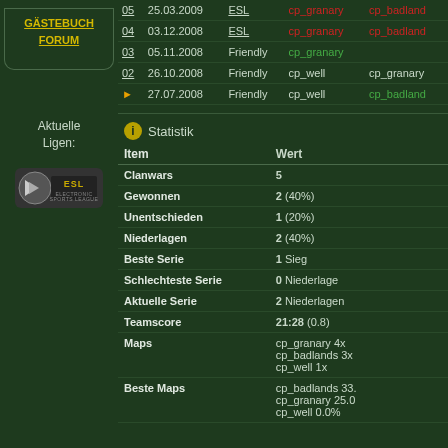GÄSTEBUCH
FORUM
Aktuelle Ligen:
[Figure (logo): ESL Electronic Sports League logo]
| # | Date | Type | Map1 | Map2 |
| --- | --- | --- | --- | --- |
| 05 | 25.03.2009 | ESL | cp_granary | cp_badlands |
| 04 | 03.12.2008 | ESL | cp_granary | cp_badlands |
| 03 | 05.11.2008 | Friendly | cp_granary |  |
| 02 | 26.10.2008 | Friendly | cp_well | cp_granary |
| ▶ | 27.07.2008 | Friendly | cp_well | cp_badlands |
Statistik
| Item | Wert |
| --- | --- |
| Clanwars | 5 |
| Gewonnen | 2 (40%) |
| Unentschieden | 1 (20%) |
| Niederlagen | 2 (40%) |
| Beste Serie | 1 Sieg |
| Schlechteste Serie | 0 Niederlage |
| Aktuelle Serie | 2 Niederlagen |
| Teamscore | 21:28 (0.8) |
| Maps | cp_granary 4x
cp_badlands 3x
cp_well 1x |
| Beste Maps | cp_badlands 33.
cp_granary 25.0
cp_well 0.0% |